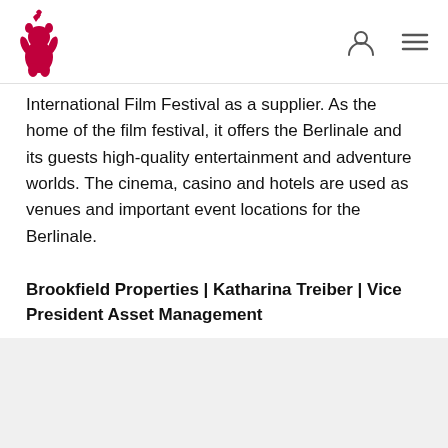Berlinale logo and navigation icons
International Film Festival as a supplier. As the home of the film festival, it offers the Berlinale and its guests high-quality entertainment and adventure worlds. The cinema, casino and hotels are used as venues and important event locations for the Berlinale.
Brookfield Properties | Katharina Treiber | Vice President Asset Management
katharina.treiber@brookfieldproperties.com